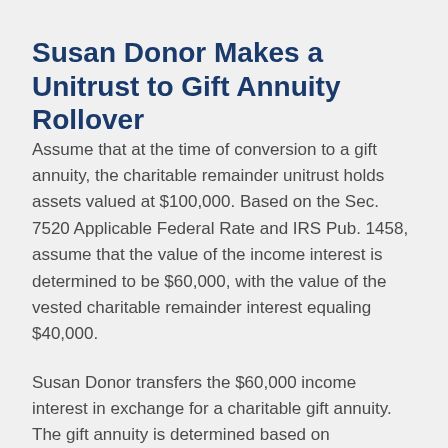Susan Donor Makes a Unitrust to Gift Annuity Rollover
Assume that at the time of conversion to a gift annuity, the charitable remainder unitrust holds assets valued at $100,000. Based on the Sec. 7520 Applicable Federal Rate and IRS Pub. 1458, assume that the value of the income interest is determined to be $60,000, with the value of the vested charitable remainder interest equaling $40,000.
Susan Donor transfers the $60,000 income interest in exchange for a charitable gift annuity. The gift annuity is determined based on...